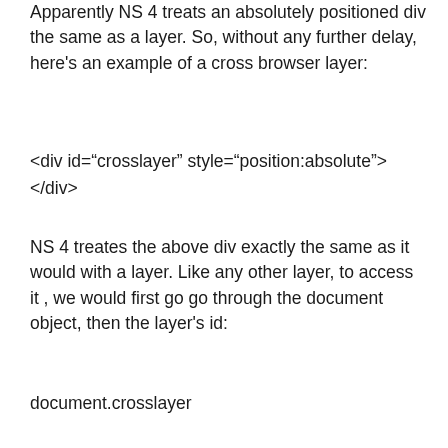Apparently NS 4 treats an absolutely positioned div the same as a layer. So, without any further delay, here's an example of a cross browser layer:
<div id="crosslayer" style="position:absolute">
</div>
NS 4 treates the above div exactly the same as it would with a layer. Like any other layer, to access it , we would first go go through the document object, then the layer's id:
document.crosslayer